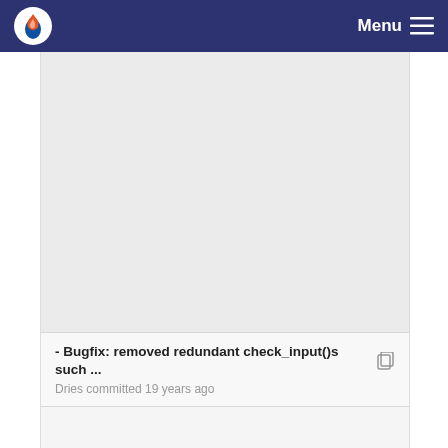Menu
[Figure (other): Advertisement or empty content area]
- Bugfix: removed redundant check_input()s such ... Dries committed 19 years ago